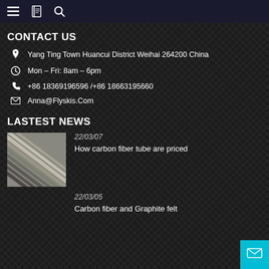Navigation bar with menu, book, and search icons
CONTACT US
Yang Ting Town Huancui District Weihai 264200 China
Mon – Fri: 8am – 6pm
+86 18369196596 /+86 18663195660
Anna@Flyskis.Com
LASTEST NEWS
[Figure (photo): Thumbnail photo of carbon fiber tubes/rods showing diagonal striped pattern]
22/03/07
How carbon fiber tube are priced
22/03/05
Carbon fiber and Graphite felt